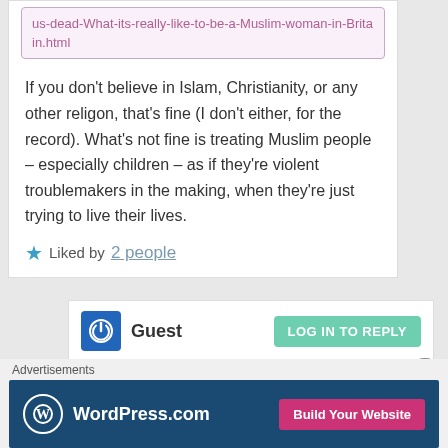us-dead-What-its-really-like-to-be-a-Muslim-woman-in-Britain.html
If you don't believe in Islam, Christianity, or any other religon, that's fine (I don't either, for the record). What's not fine is treating Muslim people – especially children – as if they're violent troublemakers in the making, when they're just trying to live their lives.
Liked by 2 people
Guest
LOG IN TO REPLY
May 29, 2015 at 01:51
Advertisements
[Figure (logo): WordPress.com advertisement banner with Build Your Website button]